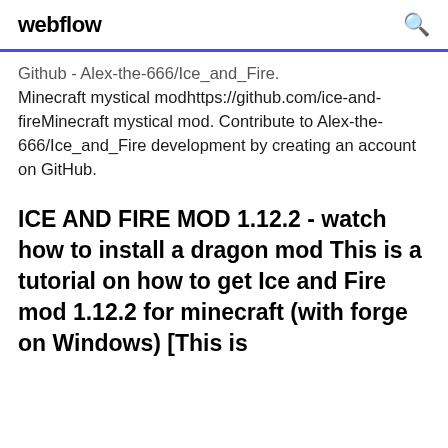webflow
Github - Alex-the-666/Ice_and_Fire. Minecraft mystical modhttps://github.com/ice-and-fireMinecraft mystical mod. Contribute to Alex-the-666/Ice_and_Fire development by creating an account on GitHub.
ICE AND FIRE MOD 1.12.2 - watch how to install a dragon mod This is a tutorial on how to get Ice and Fire mod 1.12.2 for minecraft (with forge on Windows) [This is